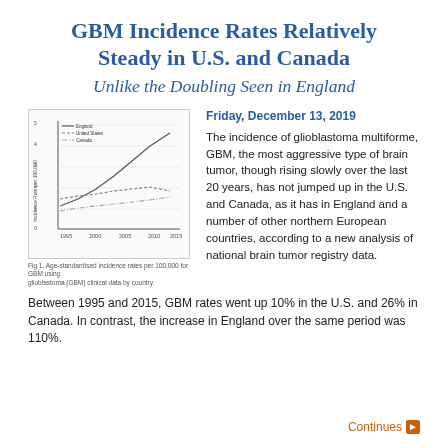GBM Incidence Rates Relatively Steady in U.S. and Canada
Unlike the Doubling Seen in England
Friday, December 13, 2019
[Figure (continuous-plot): Line chart showing incidence of glioblastoma over time by country (England, United States, Canada), with lines trending upward from approximately 1995 to 2015. England line rises most steeply.]
Fig. 1. Age-standardised incidence rates per 100,000 for GBM using glioblastoma (GBM) clinical data by country.
The incidence of glioblastoma multiforme, GBM, the most aggressive type of brain tumor, though rising slowly over the last 20 years, has not jumped up in the U.S. and Canada, as it has in England and a number of other northern European countries, according to a new analysis of national brain tumor registry data.
Between 1995 and 2015, GBM rates went up 10% in the U.S. and 26% in Canada. In contrast, the increase in England over the same period was 110%.
Continues ▶